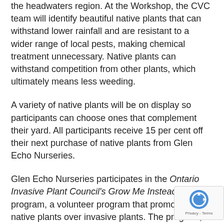the headwaters region. At the Workshop, the CVC team will identify beautiful native plants that can withstand lower rainfall and are resistant to a wider range of local pests, making chemical treatment unnecessary. Native plants can withstand competition from other plants, which ultimately means less weeding.
A variety of native plants will be on display so participants can choose ones that complement their yard. All participants receive 15 per cent off their next purchase of native plants from Glen Echo Nurseries.
Glen Echo Nurseries participates in the Ontario Invasive Plant Council's Grow Me Instead program, a volunteer program that promotes native plants over invasive plants. The program, in its second year, has seen a rise in popularity as more residents learn about the advantages of using native plants. The rapid spread of invasive species has become a major concern. They displace diverse native species and impact the animals that rely on native plants for food and habitat.